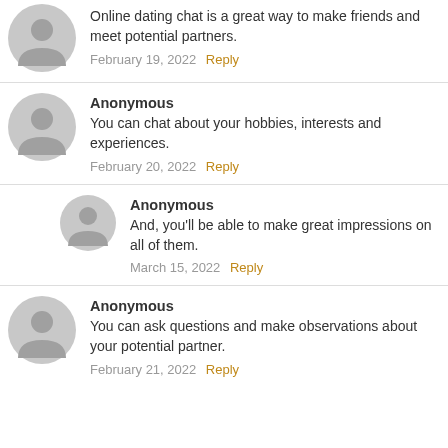Online dating chat is a great way to make friends and meet potential partners.
February 19, 2022  Reply
Anonymous
You can chat about your hobbies, interests and experiences.
February 20, 2022  Reply
Anonymous
And, you'll be able to make great impressions on all of them.
March 15, 2022  Reply
Anonymous
You can ask questions and make observations about your potential partner.
February 21, 2022  Reply